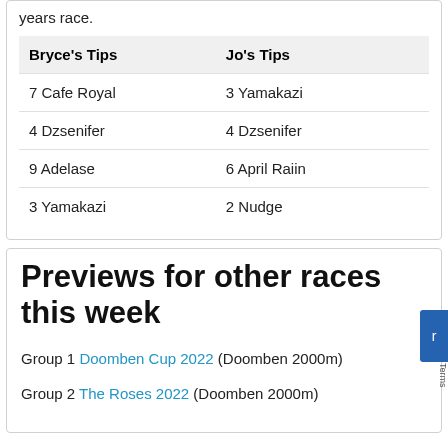years race.
| Bryce's Tips | Jo's Tips |
| --- | --- |
| 7 Cafe Royal | 3 Yamakazi |
| 4 Dzsenifer | 4 Dzsenifer |
| 9 Adelase | 6 April Raiin |
| 3 Yamakazi | 2 Nudge |
Previews for other races this week
Group 1 Doomben Cup 2022 (Doomben 2000m)
Group 2 The Roses 2022 (Doomben 2000m)